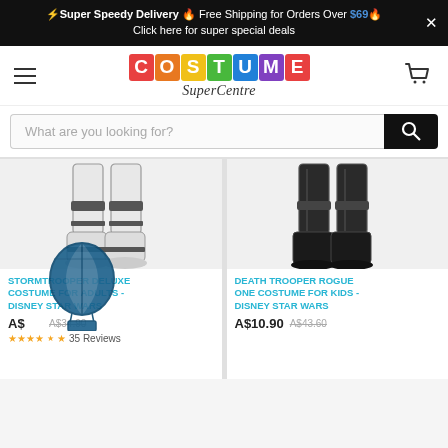⚡Super Speedy Delivery 🔥 Free Shipping for Orders Over $69 | Click here for super special deals
[Figure (logo): Costume SuperCentre logo with colourful letter blocks spelling COSTUME and script subtitle SuperCentre]
[Figure (screenshot): Search bar with placeholder text 'What are you looking for?' and black search button]
[Figure (photo): Stormtrooper Deluxe costume legs - white armour boots]
STORMTROOPER DELUXE COSTUME FOR ADULTS - DISNEY STAR WARS
A$10.90  A$34.90  35 Reviews
[Figure (photo): Death Trooper Rogue One costume legs - dark armour boots]
DEATH TROOPER ROGUE ONE COSTUME FOR KIDS - DISNEY STAR WARS
A$10.90  A$43.60